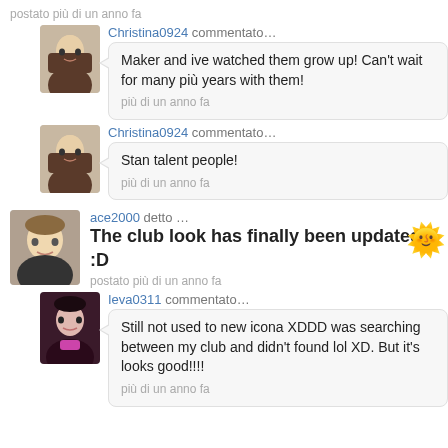postato più di un anno fa
Christina0924 commentato…
Maker and ive watched them grow up! Can't wait for many più years with them!
pià di un anno fa
Christina0924 commentato…
Stan talent people!
pià di un anno fa
ace2000 detto …
The club look has finally been updated! :D
postato più di un anno fa
Ieva0311 commentato…
Still not used to new icona XDDD was searching between my club and didn't found lol XD. But it's looks good!!!!
pià di un anno fa